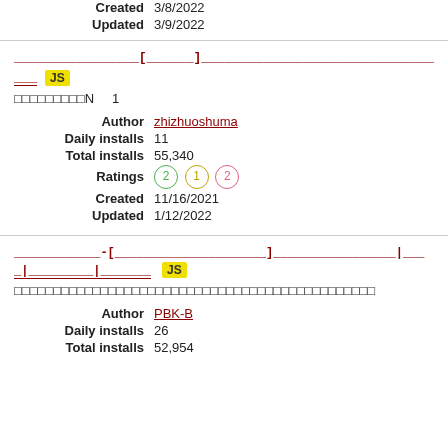Created  3/8/2022
Updated  3/9/2022
[script title bar - dark red underlined bracket notation] JS
□□□□□□□□□N   1
Author  zhizhuoshuma
Daily installs  11
Total installs  55,340
Ratings  2 1 2
Created  11/16/2021
Updated  1/12/2022
-[ ... ] ... |__ JS [second script title bar]
□□□□□□□□□□□□□□□□□□□□□□□□□□□□□□□□□□□□□□□□□□□□□□
Author  PBK-B
Daily installs  26
Total installs  52,954